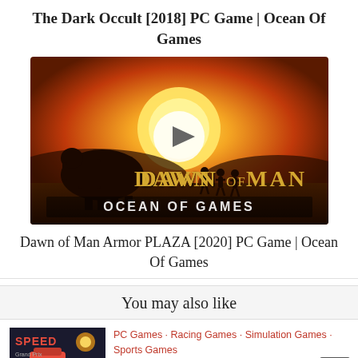The Dark Occult [2018] PC Game | Ocean Of Games
[Figure (screenshot): Dawn of Man game video thumbnail with orange sunset background, elephant silhouette, walking figures, play button overlay, and OCEAN OF GAMES watermark]
Dawn of Man Armor PLAZA [2020] PC Game | Ocean Of Games
You may also like
[Figure (screenshot): Speed 3 Grand Prix game thumbnail showing racing car]
PC Games · Racing Games · Simulation Games · Sports Games
Speed 3 Grand Prix PLAZA